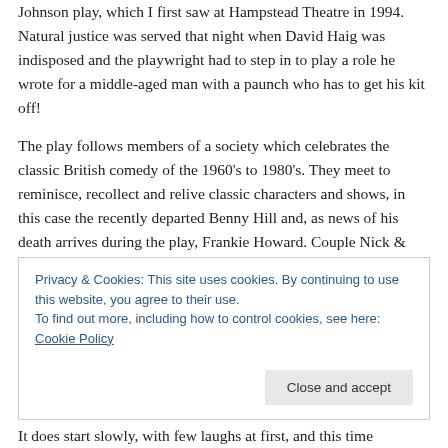Johnson play, which I first saw at Hampstead Theatre in 1994. Natural justice was served that night when David Haig was indisposed and the playwright had to step in to play a role he wrote for a middle-aged man with a paunch who has to get his kit off!
The play follows members of a society which celebrates the classic British comedy of the 1960's to 1980's. They meet to reminisce, recollect and relive classic characters and shows, in this case the recently departed Benny Hill and, as news of his death arrives during the play, Frankie Howard. Couple Nick & Lisa, singleton Brian and host
Privacy & Cookies: This site uses cookies. By continuing to use this website, you agree to their use.
To find out more, including how to control cookies, see here: Cookie Policy
Close and accept
It does start slowly, with few laughs at first, and this time